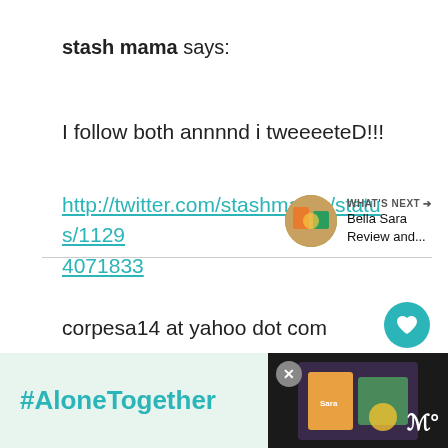stash mama says:
I follow both annnnd i tweeeeteD!!!
http://twitter.com/stashmama/status/11294071833
corpesa14 at yahoo dot com
Reply
WHAT'S NEXT → Bella Sara Review and...
#AloneTogether